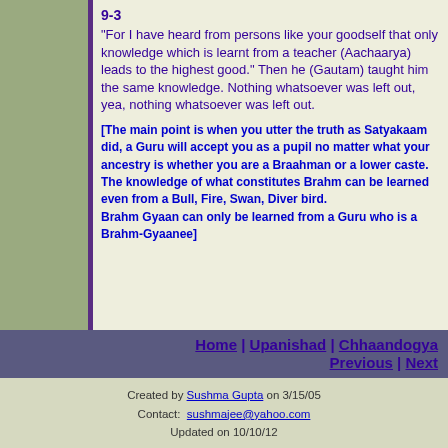9-3
"For I have heard from persons like your goodself that only knowledge which is learnt from a teacher (Aachaarya) leads to the highest good." Then he (Gautam) taught him the same knowledge. Nothing whatsoever was left out, yea, nothing whatsoever was left out.
[The main point is when you utter the truth as Satyakaam did, a Guru will accept you as a pupil no matter what your ancestry is whether you are a Braahman or a lower caste.
The knowledge of what constitutes Brahm can be learned even from a Bull, Fire, Swan, Diver bird.
Brahm Gyaan can only be learned from a Guru who is a Brahm-Gyaanee]
Home | Upanishad | Chhaandogya
Previous | Next
Created by Sushma Gupta on 3/15/05
Contact: sushmajee@yahoo.com
Updated on 10/10/12